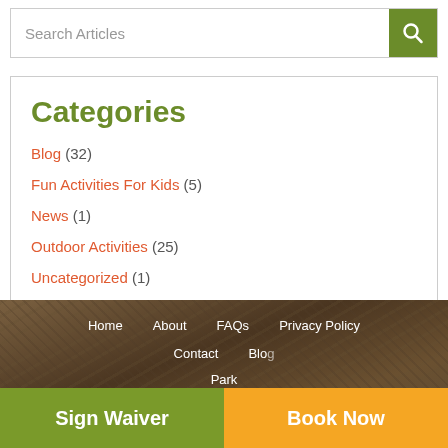Search Articles
Categories
Blog (32)
Fun Activities For Kids (5)
News (1)
Outdoor Activities (25)
Uncategorized (1)
Home  About  FAQs  Privacy Policy  Contact  Blog  Park  Sign Waiver  Book Now